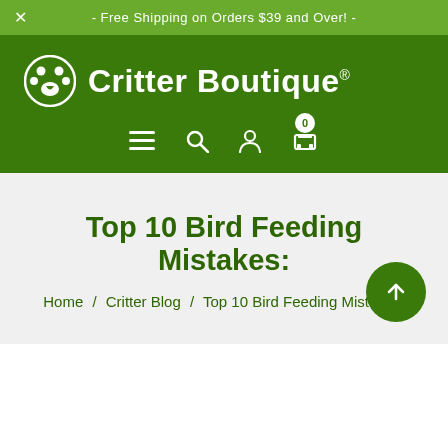- Free Shipping on Orders $39 and Over! -
[Figure (logo): Critter Boutique logo with paw print icon on green background header]
Top 10 Bird Feeding Mistakes:
Home / Critter Blog / Top 10 Bird Feeding Mistakes: